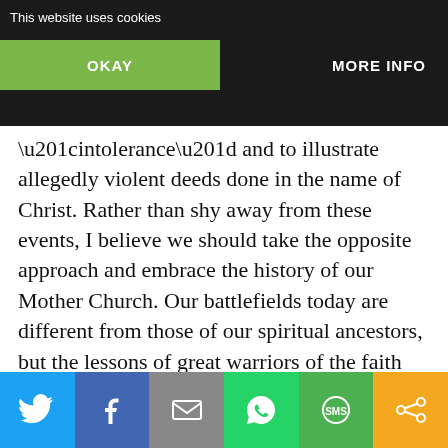[Figure (screenshot): Website cookie consent banner overlay with 'This website uses cookies' text, OKAY button (green) and MORE INFO button (dark), over a dark background]
more maligned than the Crusades. The knee-jerk reaction nowadays is to use these periods in the [history of the Church] to berate Christians for “intolerance” and to illustrate allegedly violent deeds done in the name of Christ. Rather than shy away from these events, I believe we should take the opposite approach and embrace the history of our Mother Church. Our battlefields today are different from those of our spiritual ancestors, but the lessons of great warriors of the faith have bearing today.
A shining example of courage in the Lord can be seen in the life of King Richard the Lionheart. Too often we are given a view of the Crusades as comprising greedy
[Figure (infographic): Social sharing bar with Twitter, Facebook, Email, WhatsApp, SMS, and Share buttons in different colors]